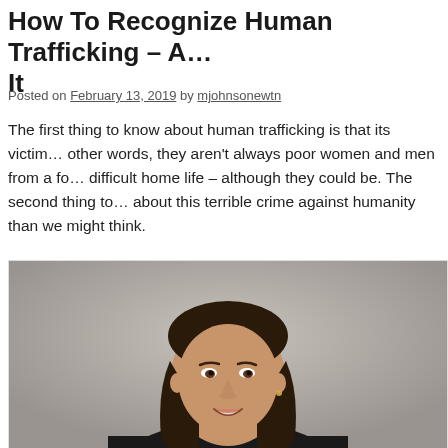How To Recognize Human Trafficking – A... It
Posted on February 13, 2019 by mjohnsonewtn
The first thing to know about human trafficking is that its victims... other words, they aren't always poor women and men from a fo... difficult home life – although they could be. The second thing to... about this terrible crime against humanity than we might think.
[Figure (photo): Professional headshot of a woman with long dark hair, smiling, wearing dark clothing, against a gray background.]